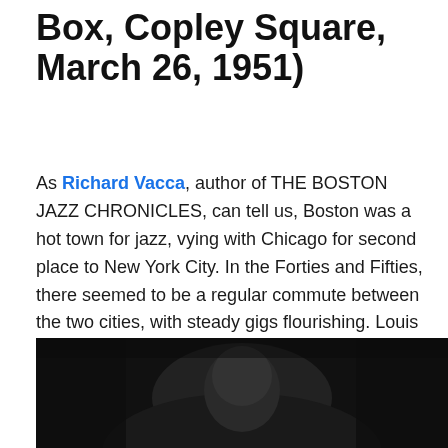Box, Copley Square, March 26, 1951)
As Richard Vacca, author of THE BOSTON JAZZ CHRONICLES, can tell us, Boston was a hot town for jazz, vying with Chicago for second place to New York City. In the Forties and Fifties, there seemed to be a regular commute between the two cities, with steady gigs flourishing. Louis and Bird, Bechet and Tatum, Newton and Sullivan, Fats and Big Sid . . . the list of performers and performances is a long one. And there were radio broadcasts from Boston clubs. Here's a brief taste of what was happening and what was captured off the air.
[Figure (photo): Black and white photograph of a jazz performer, partially visible, dark background.]